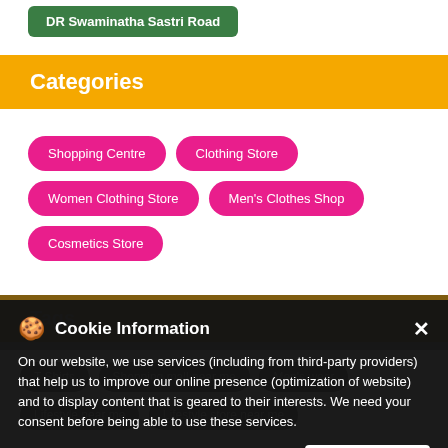DR Swaminatha Sastri Road
Categories
Shopping Centre
Clothing Store
Women Clothing Store
Men's Clothes Shop
Cosmetics Store
Tags
T Shirts
Shopping mall near me
Men's wear
Lifestyle near me
Lifestyle store near me
Cookie Information
On our website, we use services (including from third-party providers) that help us to improve our online presence (optimization of website) and to display content that is geared to their interests. We need your consent before being able to use these services.
I ACCEPT